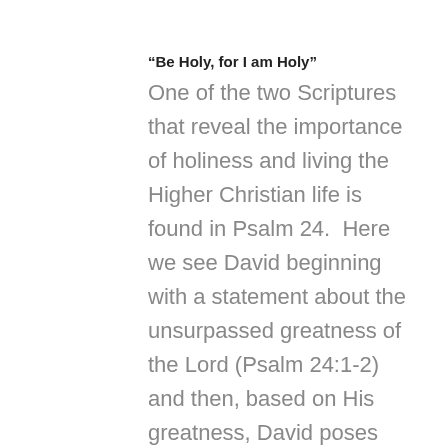“Be Holy, for I am Holy”
One of the two Scriptures that reveal the importance of holiness and living the Higher Christian life is found in Psalm 24.  Here we see David beginning with a statement about the unsurpassed greatness of the Lord (Psalm 24:1-2) and then, based on His greatness, David poses both a question and an answer.  The